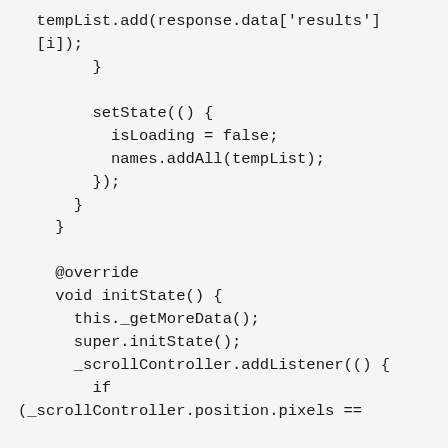tempList.add(response.data['results'][i]);
        }

        setState(() {
          isLoading = false;
          names.addAll(tempList);
        });
      }
    }

    @override
    void initState() {
      this._getMoreData();
      super.initState();
      _scrollController.addListener(() {
        if
(_scrollController.position.pixels ==

_scrollController.position.maxScrollExten